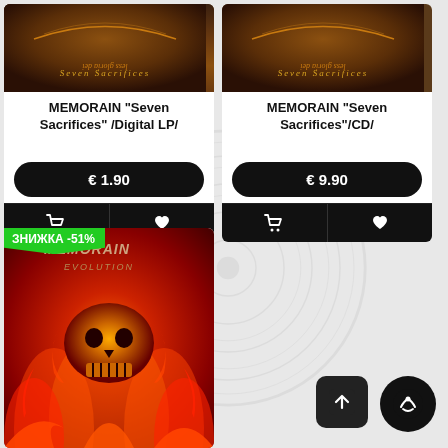[Figure (photo): Album art for MEMORAIN Seven Sacrifices - dark brown wood texture background with decorative lettering]
MEMORAIN "Seven Sacrifices" /Digital LP/
€ 1.90
[Figure (photo): Album art for MEMORAIN Seven Sacrifices CD - same dark brown wood texture]
MEMORAIN "Seven Sacrifices"/CD/
€ 9.90
ЗНИЖКА -51%
[Figure (photo): Album art for MEMORAIN Evolution - fiery skull on red/orange flame background]